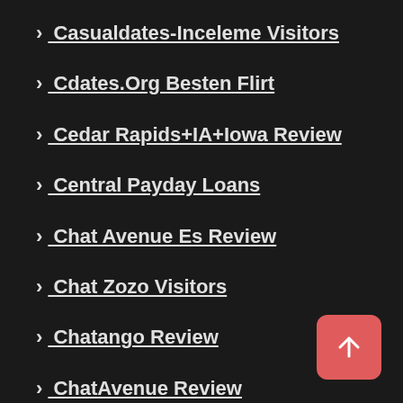> Casualdates-Inceleme Visitors
> Cdates.Org Besten Flirt
> Cedar Rapids+IA+Iowa Review
> Central Payday Loans
> Chat Avenue Es Review
> Chat Zozo Visitors
> Chatango Review
> ChatAvenue Review
> ChatAvenue Visitors
> ChatHour Visitors
[Figure (illustration): Back to top button — pink/salmon rounded square with upward arrow icon]